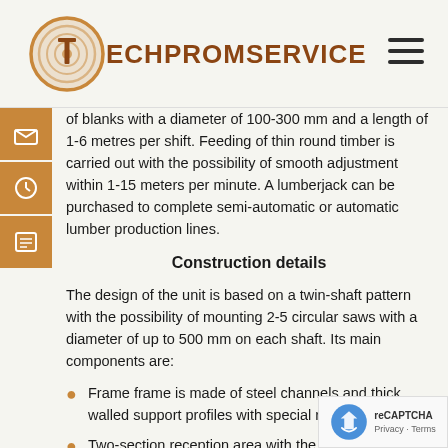TECHPROMSERVICE
of blanks with a diameter of 100-300 mm and a length of 1-6 metres per shift. Feeding of thin round timber is carried out with the possibility of smooth adjustment within 1-15 meters per minute. A lumberjack can be purchased to complete semi-automatic or automatic lumber production lines.
Construction details
The design of the unit is based on a twin-shaft pattern with the possibility of mounting 2-5 circular saws with a diameter of up to 500 mm on each shaft. Its main components are:
Frame frame is made of steel channels and thick walled support profiles with special reinforcing rib
Two-section reception area with the dimensions part 3.3 m.